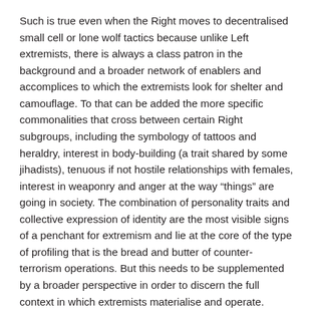Such is true even when the Right moves to decentralised small cell or lone wolf tactics because unlike Left extremists, there is always a class patron in the background and a broader network of enablers and accomplices to which the extremists look for shelter and camouflage. To that can be added the more specific commonalities that cross between certain Right subgroups, including the symbology of tattoos and heraldry, interest in body-building (a trait shared by some jihadists), tenuous if not hostile relationships with females, interest in weaponry and anger at the way “things” are going in society. The combination of personality traits and collective expression of identity are the most visible signs of a penchant for extremism and lie at the core of the type of profiling that is the bread and butter of counter-terrorism operations. But this needs to be supplemented by a broader perspective in order to discern the full context in which extremists materialise and operate.